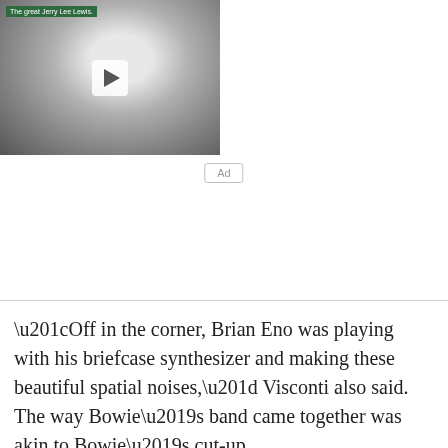[Figure (screenshot): Black and white video thumbnail of Jerry Lee Lewis smiling with a white play button overlay. Green label in top-left reads 'The great Jerry Lee Lewis.']
Ad
“Off in the corner, Brian Eno was playing with his briefcase synthesizer and making these beautiful spatial noises,” Visconti also said. The way Bowie’s band came together was akin to Bowie’s cut-up